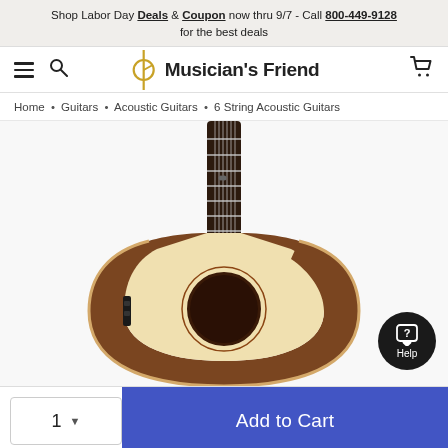Shop Labor Day Deals & Coupon now thru 9/7 - Call 800-449-9128 for the best deals
[Figure (logo): Musician's Friend logo with hamburger menu, search icon, and cart icon navigation bar]
Home • Guitars • Acoustic Guitars • 6 String Acoustic Guitars
[Figure (photo): Acoustic-electric guitar with cutaway body, spruce top, rosewood back and sides, shown from front angle with neck extending upward]
Add to Cart